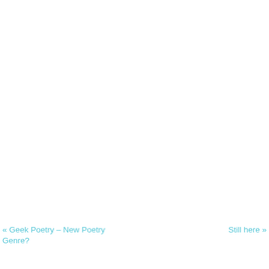« Geek Poetry – New Poetry Genre?    Still here »